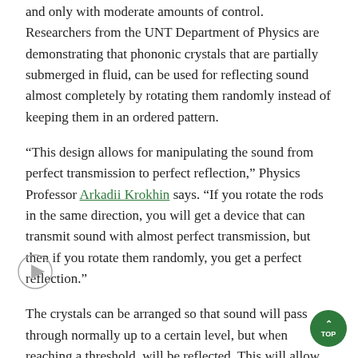and only with moderate amounts of control. Researchers from the UNT Department of Physics are demonstrating that phononic crystals that are partially submerged in fluid, can be used for reflecting sound almost completely by rotating them randomly instead of keeping them in an ordered pattern.
“This design allows for manipulating the sound from perfect transmission to perfect reflection,” Physics Professor Arkadii Krokhin says. “If you rotate the rods in the same direction, you will get a device that can transmit sound with almost perfect transmission, but then if you rotate them randomly, you get a perfect reflection.”
The crystals can be arranged so that sound will pass through normally up to a certain level, but when reaching a threshold, will be reflected. This will allow for almost 100% control of noise acoustically.
“This crystal will act to cut off the sound,” Arup Neogi, Distinguished Research Professor of Physics, says. “When it is